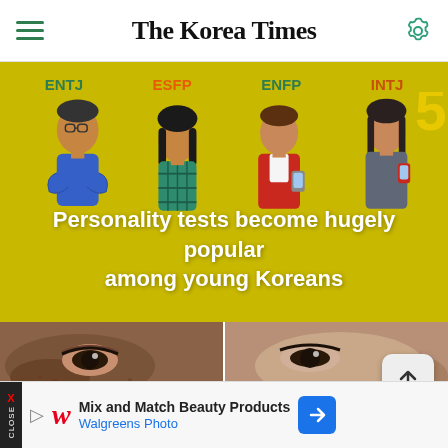The Korea Times
[Figure (illustration): Illustrated characters labeled ENTJ, ESFP, ENFP, INTJ on a yellow-green background with headline text overlay: Personality tests become hugely popular among young Koreans]
Personality tests become hugely popular among young Koreans
[Figure (photo): Close-up photo showing two pairs of eyes/faces side by side — before and after skin appearance comparison]
Mix and Match Beauty Products Walgreens Photo